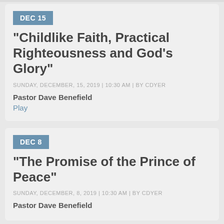DEC 15
"Childlike Faith, Practical Righteousness and God's Glory"
SUNDAY, DECEMBER, 15, 2019 | 10:30 AM | BY CDYER
Pastor Dave Benefield
Play
DEC 8
"The Promise of the Prince of Peace"
SUNDAY, DECEMBER, 8, 2019 | 10:30 AM | BY CDYER
Pastor Dave Benefield